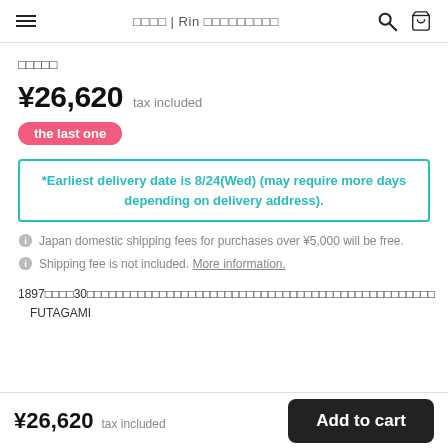☰  □□□□ | Rin □□□□□□□□□  🔍  🛒
□□□□□
¥26,620  tax included
the last one
*Earliest delivery date is 8/24(Wed) (may require more days depending on delivery address).
Japan domestic shipping fees for purchases over ¥5,000 will be free.
Shipping fee is not included. More information.
1897□□□□30□□□□□□□□□□□□□□□□□□□□□□□□□□□□□□□□□□□□□□□□□□□□□□□□　FUTAGAMI
¥26,620  tax included  Add to cart